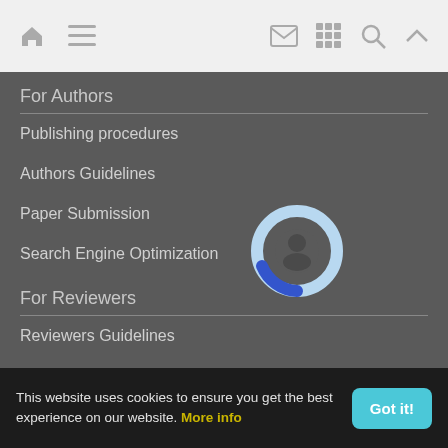[Figure (screenshot): Top navigation bar with home icon, menu icon on left, and mail, grid, search, up-arrow icons on right]
For Authors
Publishing procedures
Authors Guidelines
Paper Submission
Search Engine Optimization
[Figure (illustration): Circular loading spinner icon with blue and light blue colors overlaid on dark background]
For Reviewers
Reviewers Guidelines
For Readers
This website uses cookies to ensure you get the best experience on our website. More info
Got it!